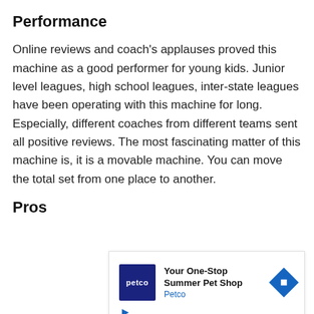Performance
Online reviews and coach's applauses proved this machine as a good performer for young kids. Junior level leagues, high school leagues, inter-state leagues have been operating with this machine for long. Especially, different coaches from different teams sent all positive reviews. The most fascinating matter of this machine is, it is a movable machine. You can move the total set from one place to another.
Pros
[Figure (other): Advertisement banner for Petco: 'Your One-Stop Summer Pet Shop' with Petco logo and navigation arrow icon]